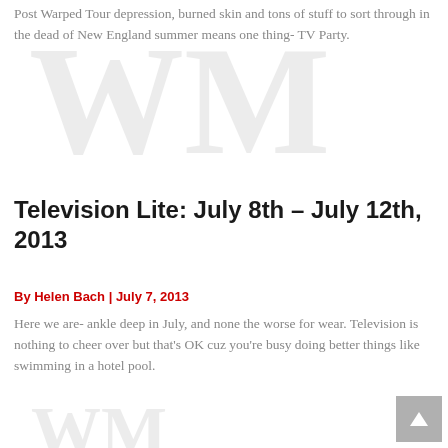Post Warped Tour depression, burned skin and tons of stuff to sort through in the dead of New England summer means one thing- TV Party.
[Figure (illustration): Watermark logo image (light gray, large decorative letters or logo mark) behind the first article excerpt]
Television Lite: July 8th – July 12th, 2013
By Helen Bach | July 7, 2013
Here we are- ankle deep in July, and none the worse for wear. Television is nothing to cheer over but that's OK cuz you're busy doing better things like swimming in a hotel pool.
[Figure (illustration): Watermark logo image (light gray, large decorative letters or logo mark) behind the second article excerpt]